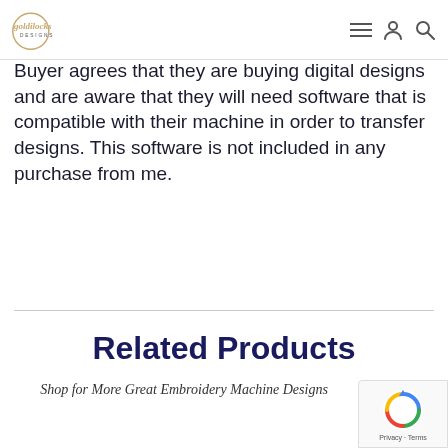Goldilocks Designs
Buyer agrees that they are buying digital designs and are aware that they will need software that is compatible with their machine in order to transfer designs. This software is not included in any purchase from me.
Related Products
Shop for More Great Embroidery Machine Designs